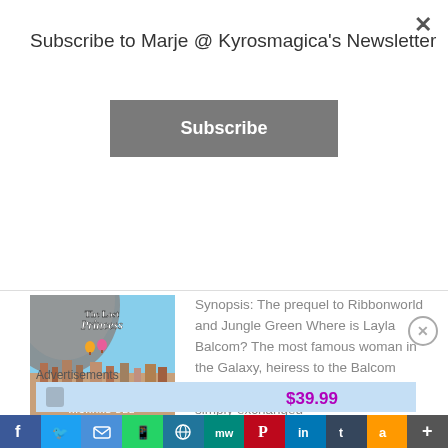Subscribe to Marje @ Kyrosmagica's Newsletter
Subscribe
[Figure (photo): Book cover of 'The Lost Princess' by Richard Dee, showing a fantasy landscape with hot air balloons over a futuristic city]
Synopsis: The prequel to Ribbonworld and Jungle Green Where is Layla Balcom? The most famous woman in the Galaxy, heiress to the Balcom empire, has vanished.  Has she simply exchanged
Advertisements
[Figure (infographic): Advertisement banner showing $39.99 price in purple]
[Figure (infographic): Social media share bar with icons for Facebook, Twitter, Email, WhatsApp, WordPress, MeWe, Pinterest, LinkedIn, Tumblr, Amazon, and a plus button]